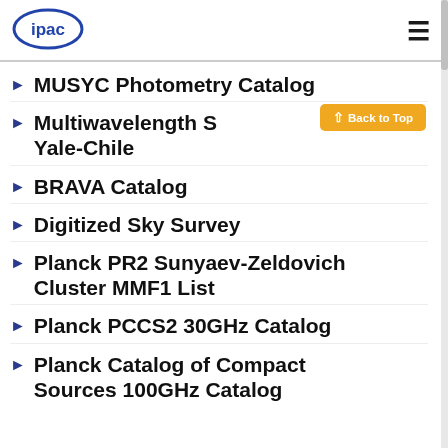ipac
MUSYC Photometry Catalog
Multiwavelength S… Yale-Chile
BRAVA Catalog
Digitized Sky Survey
Planck PR2 Sunyaev-Zeldovich Cluster MMF1 List
Planck PCCS2 30GHz Catalog
Planck Catalog of Compact Sources 100GHz Catalog